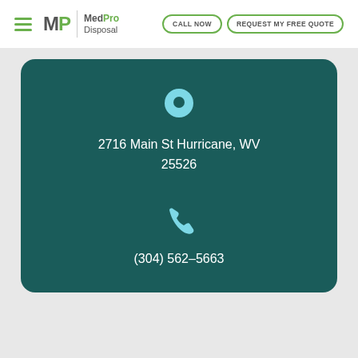MedPro Disposal | CALL NOW | REQUEST MY FREE QUOTE
2716 Main St Hurricane, WV 25526
(304) 562-5663